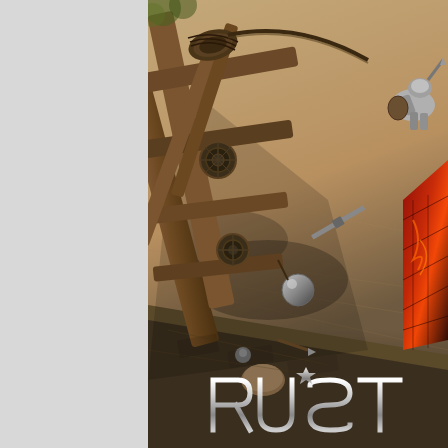[Figure (photo): Screenshot from a video game (Rust) showing a top-down view of a wooden siege structure/catapult on a sandy stone floor, with scattered medieval weapons and armor pieces. A character in armor is visible in the upper right. A red and black cloak/flag is visible on the right side. The scene has warm sandy and brown tones with dramatic shadows.]
[Figure (logo): Rust game logo text in metallic silver gothic/grunge lettering at the bottom of the image]